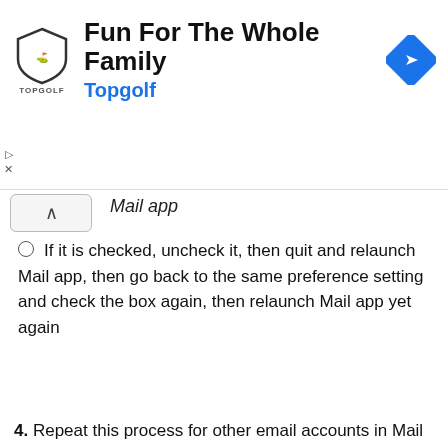[Figure (screenshot): Advertisement banner for Topgolf: 'Fun For The Whole Family' with Topgolf logo and navigation icon]
Mail app
If it is checked, uncheck it, then quit and relaunch Mail app, then go back to the same preference setting and check the box again, then relaunch Mail app yet again
4. Repeat this process for other email accounts in Mail app if necessary
[Figure (screenshot): macOS Mail app Accounts preferences window showing AOL IMAP account with Advanced tab selected, showing 'Automatically detect and maintain account settings' checkbox highlighted in red]